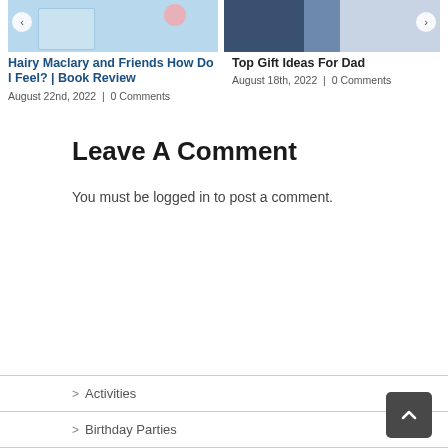[Figure (screenshot): Carousel card showing book cover image for Hairy Maclary with nav arrow on left]
Hairy Maclary and Friends How Do I Feel? | Book Review
August 22nd, 2022  |  0 Comments
[Figure (photo): Photo card showing Top Gift Ideas For Dad with a person in pink checkered shirt, nav arrow on right]
Top Gift Ideas For Dad
August 18th, 2022  |  0 Comments
Leave A Comment
You must be logged in to post a comment.
Activities
Birthday Parties